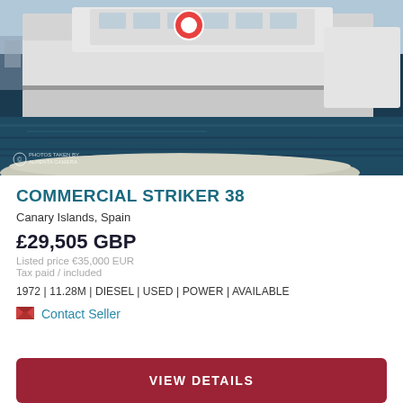[Figure (photo): Photograph of a white commercial boat named Striker 38 moored at a marina with blue water visible, taken from a low angle showing the hull and upper deck with a life preserver ring]
COMMERCIAL STRIKER 38
Canary Islands, Spain
£29,505 GBP
Listed price €35,000 EUR
Tax paid / included
1972 | 11.28M | DIESEL | USED | POWER | AVAILABLE
Contact Seller
VIEW DETAILS